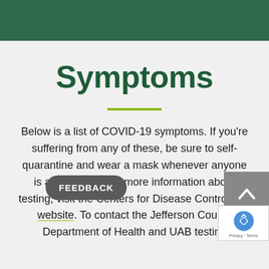Symptoms
Below is a list of COVID-19 symptoms. If you're suffering from any of these, be sure to self-quarantine and wear a mask whenever anyone is around you. For more information about testing, visit the Centers for Disease Control and Prevention website. To contact the Jefferson County Department of Health and UAB testing...